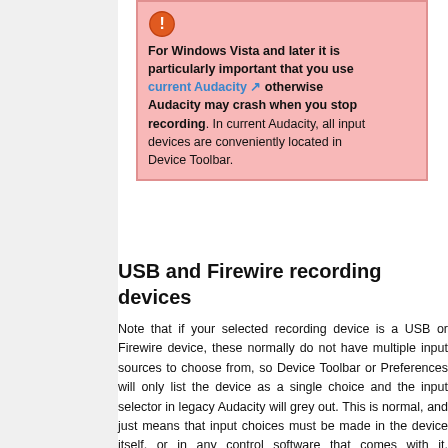For Windows Vista and later it is particularly important that you use current Audacity otherwise Audacity may crash when you stop recording. In current Audacity, all input devices are conveniently located in Device Toolbar.
USB and Firewire recording devices
Note that if your selected recording device is a USB or Firewire device, these normally do not have multiple input sources to choose from, so Device Toolbar or Preferences will only list the device as a single choice and the input selector in legacy Audacity will grey out. This is normal, and just means that input choices must be made in the device itself, or in any control software that comes with it. Examples of devices which will normally not allow input